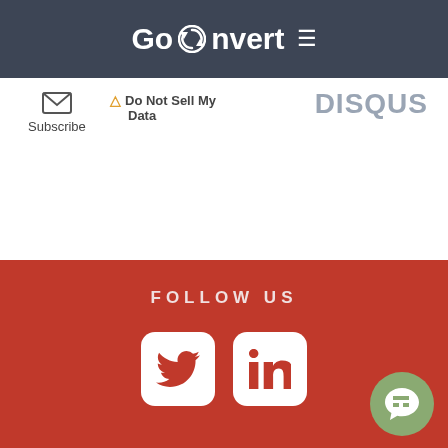GoConvert
[Figure (logo): GoConvert logo with circular arrow icon and hamburger menu icon on dark slate background]
Subscribe
Do Not Sell My Data
[Figure (logo): Disqus logo in grey text]
FOLLOW US
[Figure (infographic): Twitter bird icon (white on white rounded square) and LinkedIn 'in' icon (white on white rounded square) on red background, with green chat bubble FAB button in bottom right corner]